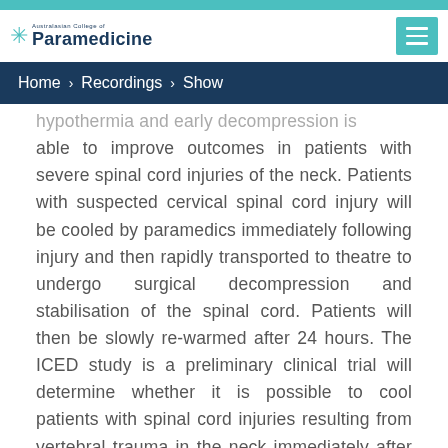Australasian College of Paramedicine
Home > Recordings > Show
hypothermia and early decompression is able to improve outcomes in patients with severe spinal cord injuries of the neck. Patients with suspected cervical spinal cord injury will be cooled by paramedics immediately following injury and then rapidly transported to theatre to undergo surgical decompression and stabilisation of the spinal cord. Patients will then be slowly re-warmed after 24 hours. The ICED study is a preliminary clinical trial will determine whether it is possible to cool patients with spinal cord injuries resulting from vertebral trauma in the neck immediately after injury and then operate on patients very